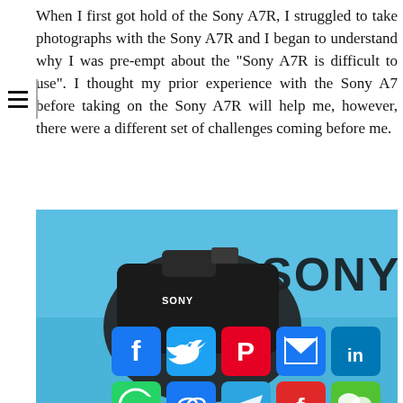When I first got hold of the Sony A7R, I struggled to take photographs with the Sony A7R and I began to understand why I was pre-empt about the "Sony A7R is difficult to use". I thought my prior experience with the Sony A7 before taking on the Sony A7R will help me, however, there were a different set of challenges coming before me.
[Figure (photo): Photo of a Sony mirrorless camera against a blue background with the SONY logo visible, overlaid with social media sharing icons including Facebook, Twitter, Pinterest, Email, LinkedIn, WhatsApp, an infinity/sharing icon, Telegram, Flipboard, WeChat, Gmail, and a plus button.]